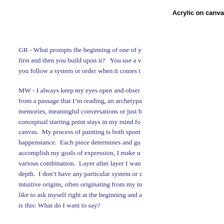Acrylic on canva
GR - What prompts the beginning of one of y first and then you build upon it?   You use a v you follow a system or order when it comes t
MW - I always keep my eyes open and obser from a passage that I’m reading, an archetypa memories, meaningful conversations or just b conceptual starting point stays in my mind fo canvas.  My process of painting is both spont happenstance.  Each piece determines and gu accomplish my goals of expression, I make u various combination.  Layer after layer I wan depth.  I don’t have any particular system or c intuitive origins, often originating from my in like to ask myself right at the beginning and a is this: What do I want to say?